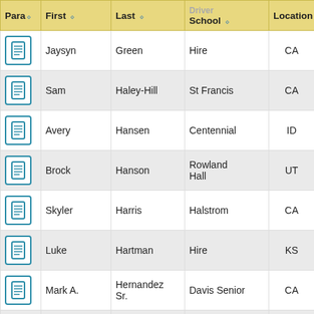| Para | First | Last | School | Location | R... |
| --- | --- | --- | --- | --- | --- |
| [icon] | Jaysyn | Green | Hire | CA |  |
| [icon] | Sam | Haley-Hill | St Francis | CA |  |
| [icon] | Avery | Hansen | Centennial | ID |  |
| [icon] | Brock | Hanson | Rowland Hall | UT |  |
| [icon] | Skyler | Harris | Halstrom | CA |  |
| [icon] | Luke | Hartman | Hire | KS |  |
| [icon] | Mark A. | Hernandez Sr. | Davis Senior | CA |  |
| [icon] | Robert | Holmes | Hire | FL |  |
| [icon] | Rachel | Holzer | Interlake | WA |  |
| [icon] | Sumaya | Hussaini | Notre Dame | CA |  |
| [icon] | Alex | Jeong | Northwood | CA |  |
| [icon] | Nate | Johnson | Downtown Magnets | CA |  |
| [icon] | Serena | Jones | Rosemont | CA |  |